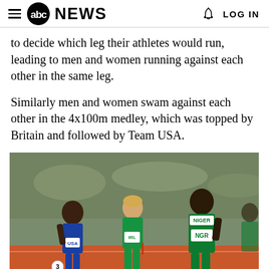abc NEWS  LOG IN
to decide which leg their athletes would run, leading to men and women running against each other in the same leg.
Similarly men and women swam against each other in the 4x100m medley, which was topped by Britain and followed by Team USA.
[Figure (photo): Athletes running on a track at what appears to be the Olympics. Three athletes are visible in the foreground: a USA female athlete on the left wearing blue, an IRL (Ireland) female athlete in the middle wearing green, and a NGR (Nigeria) male athlete on the right wearing green labeled NIGER NGR. There are spectators blurred in the background.]